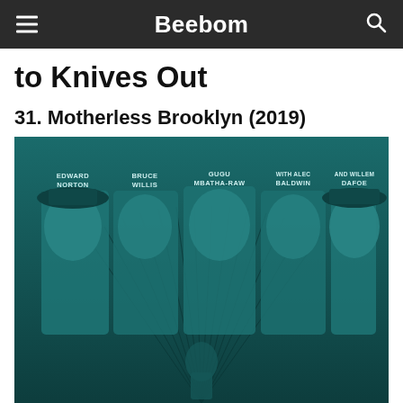Beebom
to Knives Out
31. Motherless Brooklyn (2019)
[Figure (photo): Movie poster for Motherless Brooklyn (2019) featuring Edward Norton, Bruce Willis, Gugu Mbatha-Raw, Alec Baldwin, and Willem Dafoe set against a teal-toned bridge background.]